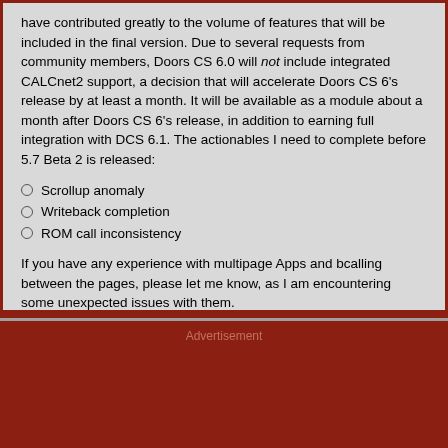have contributed greatly to the volume of features that will be included in the final version. Due to several requests from community members, Doors CS 6.0 will not include integrated CALCnet2 support, a decision that will accelerate Doors CS 6's release by at least a month. It will be available as a module about a month after Doors CS 6's release, in addition to earning full integration with DCS 6.1. The actionables I need to complete before 5.7 Beta 2 is released:
Scrollup anomaly
Writeback completion
ROM call inconsistency
If you have any experience with multipage Apps and bcalling between the pages, please let me know, as I am encountering some unexpected issues with them.
Edit: At last! I found a single ld ix,gbuf statement I had commented out that should not have been commented out that fixed all my problems (at least the last two, anyway). Excellent.
Permalink
Advertisement